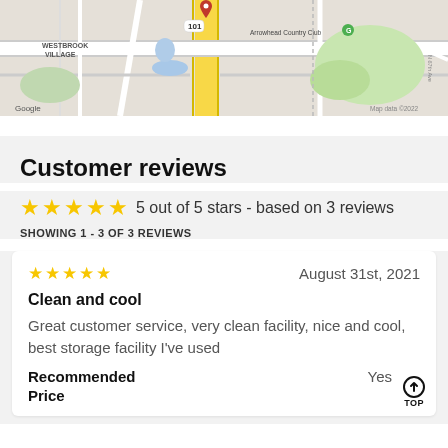[Figure (map): Google Maps screenshot showing Westbrook Village area with Arrowhead Country Club, major roads, and a red location pin marker. Map data ©2022.]
Customer reviews
5 out of 5 stars - based on 3 reviews
SHOWING 1 - 3 OF 3 REVIEWS
August 31st, 2021
Clean and cool
Great customer service, very clean facility, nice and cool, best storage facility I've used
Recommended
Yes
Price
4/5 (good value)